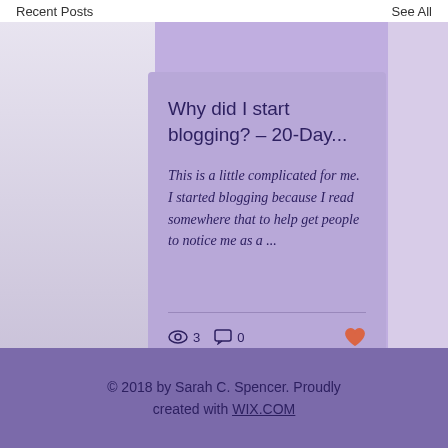Recent Posts   See All
Why did I start blogging? – 20-Day...
This is a little complicated for me. I started blogging because I read somewhere that to help get people to notice me as a ...
3   0
© 2018 by Sarah C. Spencer. Proudly created with WIX.COM